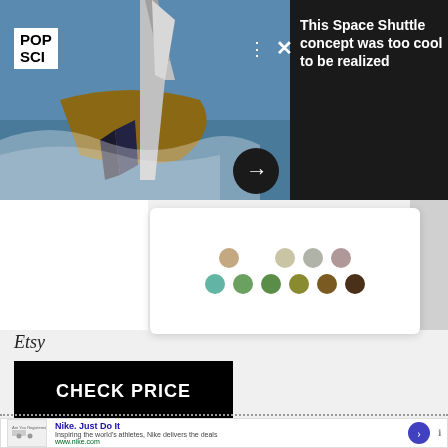[Figure (photo): Pop Sci article overlay showing a boat/sailing vessel image on the left with dark background on the right. POP SCI logo in white box top left. Three-dot menu and X close button. Arrow navigation button in dark circle.]
This Space Shuttle concept was too cool to be realized
[Figure (infographic): Color swatches panel showing two rows of circular color dots on a white card. Top row: tan/beige tones and gray/mauve tones. Bottom row: teal, green tones, olive, brown, dark brown.]
Etsy
CHECK PRICE
Nike. Just Do It
Inspiring the world's athletes, Nike delivers the deals
www.nike.com